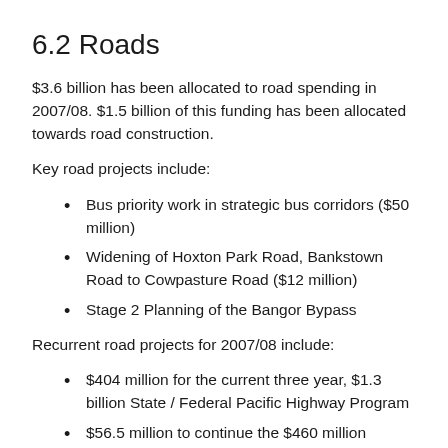6.2 Roads
$3.6 billion has been allocated to road spending in 2007/08. $1.5 billion of this funding has been allocated towards road construction.
Key road projects include:
Bus priority work in strategic bus corridors ($50 million)
Widening of Hoxton Park Road, Bankstown Road to Cowpasture Road ($12 million)
Stage 2 Planning of the Bangor Bypass
Recurrent road projects for 2007/08 include:
$404 million for the current three year, $1.3 billion State / Federal Pacific Highway Program
$56.5 million to continue the $460 million